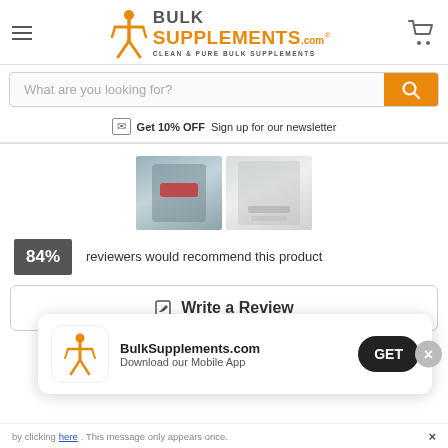[Figure (logo): BulkSupplements.com logo with orange figure, orange SUPPLEMENTS text, gray BULK text, tagline CLEAN & PURE BULK SUPPLEMENTS]
What are you looking for?
Get 10% OFF Sign up for our newsletter
[Figure (photo): Two product images side by side — left: gray supplement bag, right: white bulk packaging]
84% reviewers would recommend this product
Write a Review
[Figure (screenshot): App install banner with BulkSupplements.com logo, text 'BulkSupplements.com Download our Mobile App' and GET button]
by clicking here. This message only appears once.